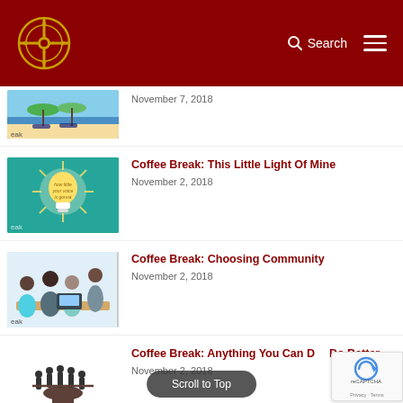Navigation bar with logo, Search, and menu icon
November 7, 2018
[Figure (photo): Beach scene with lounge chairs under green umbrellas and ocean view, partially visible. Text 'eak' visible.]
[Figure (photo): Teal background with glowing light bulb and text 'how little your voice is gonna let a shine'. Text 'eak' visible.]
Coffee Break: This Little Light Of Mine
November 2, 2018
[Figure (photo): Group of people collaborating around a table with laptop and tablet. Text 'eak' visible.]
Coffee Break: Choosing Community
November 2, 2018
[Figure (illustration): Silhouette of people standing on a hand. Text 'eak' visible.]
Coffee Break: Anything You Can Do Better
November 2, 2018
Scroll to Top